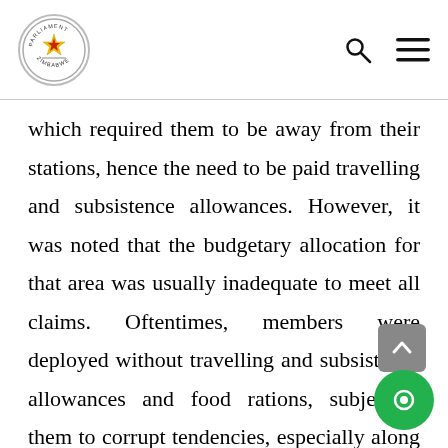Parliament of Zimbabwe logo with search and menu icons
which required them to be away from their stations, hence the need to be paid travelling and subsistence allowances. However, it was noted that the budgetary allocation for that area was usually inadequate to meet all claims. Oftentimes, members were deployed without travelling and subsistence allowances and food rations, subjecting them to corrupt tendencies, especially along the country’s borderline.